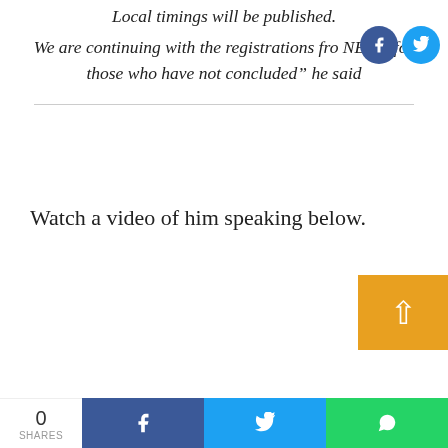Local timings will be published. We are continuing with the registrations fro NECO for those who have not concluded” he said
Watch a video of him speaking below.
0 SHARES | Facebook share | Twitter share | WhatsApp share